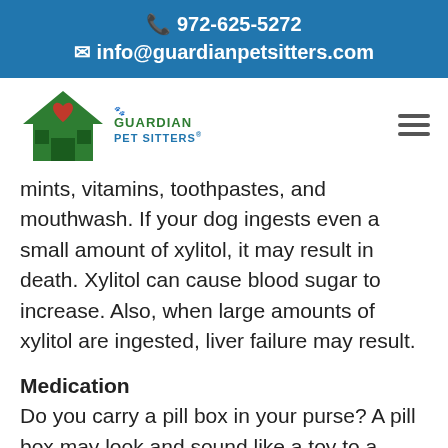📞 972-625-5272
✉ info@guardianpetsitters.com
[Figure (logo): Guardian Pet Sitters logo with green house and red heart, with paw print, alongside navigation hamburger menu icon]
mints, vitamins, toothpastes, and mouthwash. If your dog ingests even a small amount of xylitol, it may result in death. Xylitol can cause blood sugar to increase. Also, when large amounts of xylitol are ingested, liver failure may result.
Medication
Do you carry a pill box in your purse? A pill box may look and sound like a toy to a curious dog but human medication can cause your pet serious harm. Many pets are poisoned by